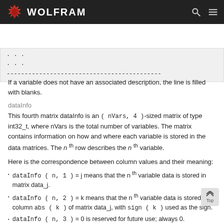WOLFRAM
...
...
-------------------------------------------
If a variable does not have an associated description, the line is filled with blanks.
dataInfo
This fourth matrix dataInfo is an (nVars, 4)-sized matrix of type int32_t, where nVars is the total number of variables. The matrix contains information on how and where each variable is stored in the data matrices. The n th row describes the n th variable.
Here is the correspondence between column values and their meaning:
dataInfo(n, 1) = j means that the n th variable data is stored in matrix data_j.
dataInfo(n, 2) = k means that the n th variable data is stored in column abs(k) of matrix data_j, with sign(k) used as the sign.
dataInfo(n, 3) = 0 is reserved for future use; always 0.
dataInfo(n, 4) = -1 is reserved for future use; always -1.